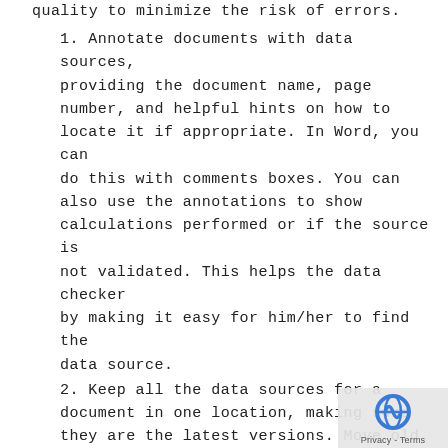quality to minimize the risk of errors.
1. Annotate documents with data sources, providing the document name, page number, and helpful hints on how to locate it if appropriate. In Word, you can do this with comments boxes. You can also use the annotations to show calculations performed or if the source is not validated. This helps the data checker by making it easy for him/her to find the data source.
2. Keep all the data sources for a document in one location, making sure they are the latest versions. Move old versions into a separate location so there are not multiple documents purporting to be the right data set. Having